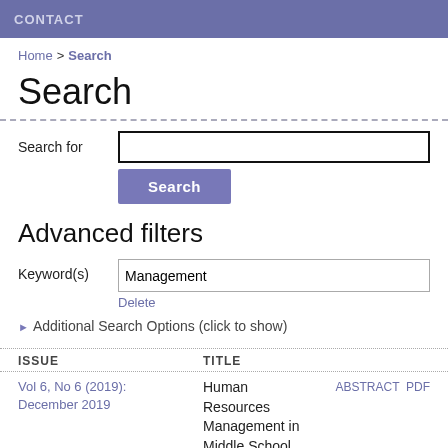CONTACT
Home > Search
Search
Search for [input field]
Search [button]
Advanced filters
Keyword(s): Management | Delete
Additional Search Options (click to show)
| ISSUE | TITLE |  |
| --- | --- | --- |
| Vol 6, No 6 (2019): December 2019 | Human Resources Management in Middle School | ABSTRACT  PDF |